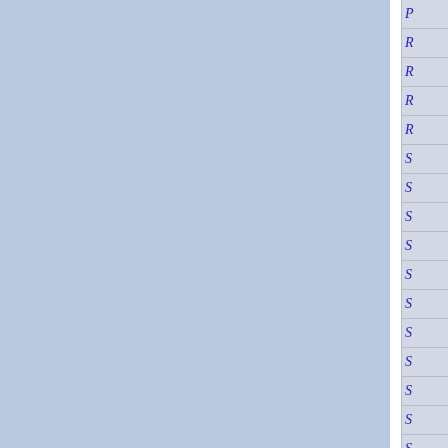[Figure (other): Page layout showing two blue panels separated by a white vertical divider on the left portion, and a right sidebar with partially visible italic blue letters starting with P, R, R, R, R, S, S, S, S, S, S, S, S, S, S, S on a light gray background with horizontal dividing lines.]